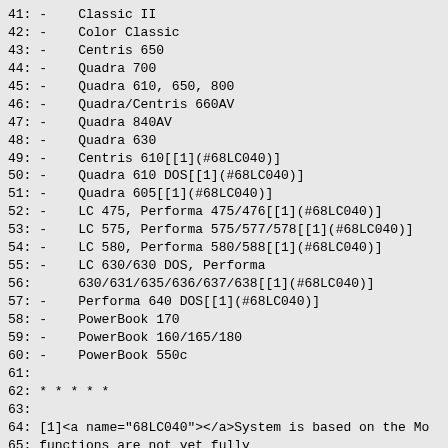41: -    Classic II
42: -    Color Classic
43: -    Centris 650
44: -    Quadra 700
45: -    Quadra 610, 650, 800
46: -    Quadra/Centris 660AV
47: -    Quadra 840AV
48: -    Quadra 630
49: -    Centris 610[[1](#68LC040)]
50: -    Quadra 610 DOS[[1](#68LC040)]
51: -    Quadra 605[[1](#68LC040)]
52: -    LC 475, Performa 475/476[[1](#68LC040)]
53: -    LC 575, Performa 575/577/578[[1](#68LC040)]
54: -    LC 580, Performa 580/588[[1](#68LC040)]
55: -    LC 630/630 DOS, Performa
56:      630/631/635/636/637/638[[1](#68LC040)]
57: -    Performa 640 DOS[[1](#68LC040)]
58: -    PowerBook 170
59: -    PowerBook 160/165/180
60: -    PowerBook 550c
61:
62: * * * * *
63:
64: [1]<a name="68LC040"></a>System is based on the Mo
65: functions are not yet fully
66: supported](http://www.macbsd.org/macbsd/LC040-and-
67: """
68: additional="""
69: * [NetBSD/mac68k Meta-FAQ](http://www.NetBSD.org/p
70: * [BSD/mac68k Booter Manual](http://www.NetBSD.or